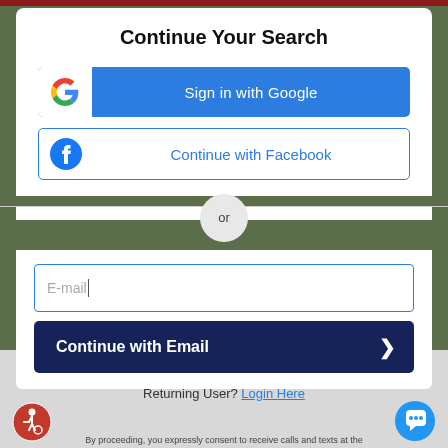Continue Your Search
[Figure (screenshot): Sign in with Google button - blue button with Google G logo on white box on left]
[Figure (screenshot): Continue with Facebook button - white button with blue border and Facebook logo]
or
[Figure (screenshot): E-mail input field with blue border]
[Figure (screenshot): Continue with Email button - dark navy blue with right arrow]
Returning User? Login Here
[Figure (illustration): Accessibility icon - red circle with wheelchair user symbol]
[Figure (illustration): Chat bubble icon - blue circle with speech bubble]
By proceeding, you expressly consent to receive calls and texts at the